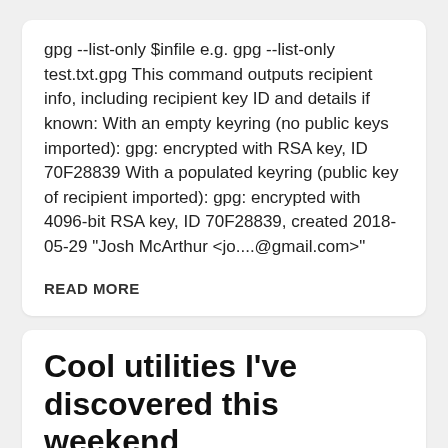gpg --list-only $infile e.g. gpg --list-only test.txt.gpg This command outputs recipient info, including recipient key ID and details if known: With an empty keyring (no public keys imported): gpg: encrypted with RSA key, ID 70F28839 With a populated keyring (public key of recipient imported): gpg: encrypted with 4096-bit RSA key, ID 70F28839, created 2018-05-29 "Josh McArthur <jo....@gmail.com>"
READ MORE
Cool utilities I've discovered this weekend
bat bat is cat with syntax highlighting, but is still